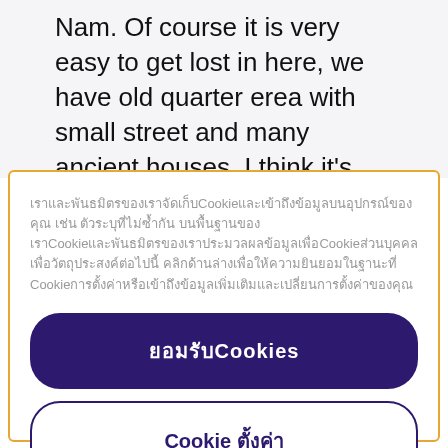Nam. Of course it is very easy to get lost in here, we have old quarter erea with small street and many ancient houses. I think it's complicated for tourist to travel in Hanoi. I have given directions for a visitor when I was a child. A men asked me the
เราและพันธมิตรของเราจัดเก็บ Cookie และเข้าถึงข้อมูลบนอุปกรณ์ของคุณ เช่น ตัวระบุที่ไม่ซ้ำกัน บนพื้นฐานของ Cookie เราและพันธมิตรของเราประมวลผลข้อมูลเพื่อ Cookie ส่วนบุคคลเพื่อวัตถุประสงค์ต่อไปนี้ คลิกด้านล่างเพื่อให้ความยินยอมในฐานะที่ Cookie
ยอมรับCookies
Cookie ตั้งค่า